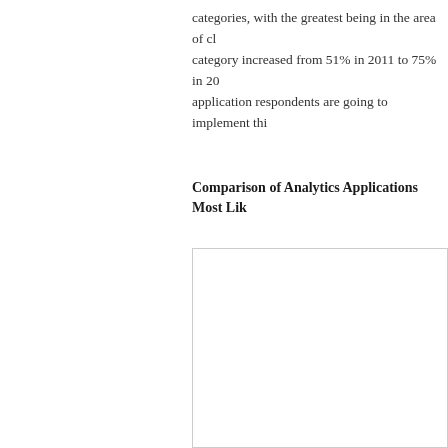categories, with the greatest being in the area of cl... category increased from 51% in 2011 to 75% in 20... application respondents are going to implement thi...
Comparison of Analytics Applications Most Lik...
[Figure (other): A chart or figure area showing comparison of analytics applications most likely to be implemented, partially visible at the bottom of the page.]